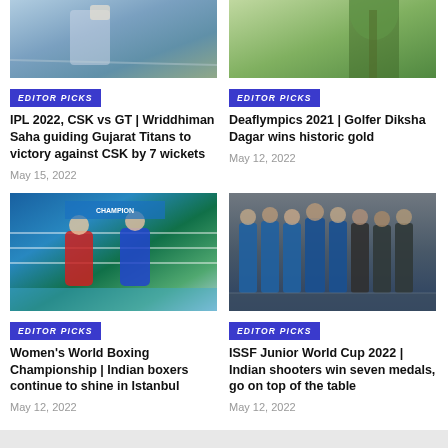[Figure (photo): Cricket player batting action shot (partial, top crop)]
[Figure (photo): Golfer near palm tree (partial, top crop)]
EDITOR PICKS
IPL 2022, CSK vs GT | Wriddhiman Saha guiding Gujarat Titans to victory against CSK by 7 wickets
May 15, 2022
EDITOR PICKS
Deaflympics 2021 | Golfer Diksha Dagar wins historic gold
May 12, 2022
[Figure (photo): Women's boxing championship bout in ring, boxers in red and blue gear]
[Figure (photo): Group of Indian shooters standing together holding medals]
EDITOR PICKS
Women's World Boxing Championship | Indian boxers continue to shine in Istanbul
May 12, 2022
EDITOR PICKS
ISSF Junior World Cup 2022 | Indian shooters win seven medals, go on top of the table
May 12, 2022